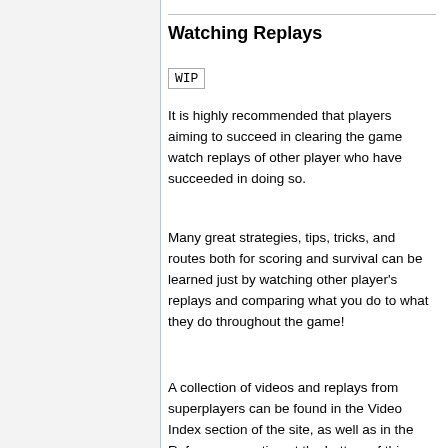Watching Replays
WIP
It is highly recommended that players aiming to succeed in clearing the game watch replays of other player who have succeeded in doing so.
Many great strategies, tips, tricks, and routes both for scoring and survival can be learned just by watching other player's replays and comparing what you do to what they do throughout the game!
A collection of videos and replays from superplayers can be found in the Video Index section of the site, as well as in the References section at the bottom of this page. Here are a few videos that can help beginners interested in learning